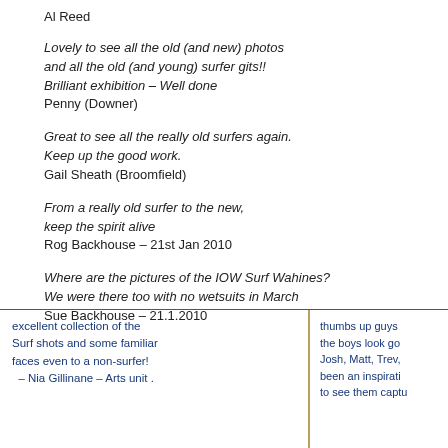Al Reed
Lovely to see all the old (and new) photos and all the old (and young) surfer gits!! Brilliant exhibition – Well done Penny (Downer)
Great to see all the really old surfers again. Keep up the good work. Gail Sheath (Broomfield)
From a really old surfer to the new, keep the spirit alive Rog Backhouse – 21st Jan 2010
Where are the pictures of the IOW Surf Wahines? We were there too with no wetsuits in March Sue Backhouse – 21.1.2010
[Figure (photo): Handwritten guestbook entries: Left side reads 'excellent collection of the surf shots and some familiar faces even to a non-surfer! – Nia Gillinane – Arts unit.' Right side reads 'thumbs up guys the boys look go... Josh, Matt, Trev, been an inspirati... to see them captu...']